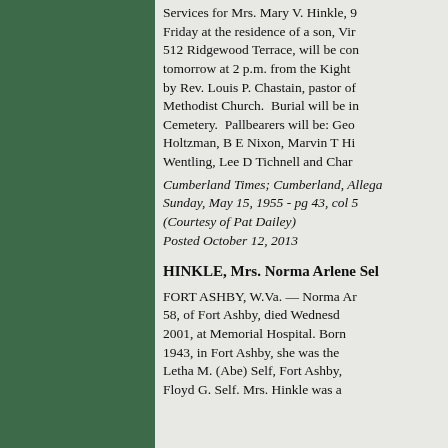Services for Mrs. Mary V. Hinkle, 9 Friday at the residence of a son, Vir 512 Ridgewood Terrace, will be con tomorrow at 2 p.m. from the Kight by Rev. Louis P. Chastain, pastor of Methodist Church. Burial will be in Cemetery. Pallbearers will be: Geo Holtzman, B E Nixon, Marvin T Hi Wentling, Lee D Tichnell and Char
Cumberland Times; Cumberland, Alla Sunday, May 15, 1955 - pg 43, col 5 (Courtesy of Pat Dailey) Posted October 12, 2013
HINKLE, Mrs. Norma Arlene Sel
FORT ASHBY, W.Va. — Norma Ar 58, of Fort Ashby, died Wednesd 2001, at Memorial Hospital. Born 1943, in Fort Ashby, she was the Letha M. (Abe) Self, Fort Ashby, Floyd G. Self. Mrs. Hinkle was a